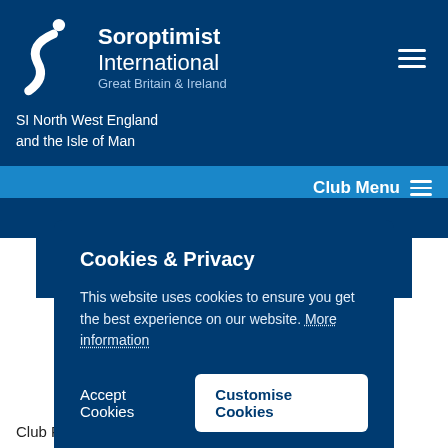[Figure (logo): Soroptimist International Great Britain & Ireland logo with white figure/S shape on dark blue background, with text 'Soroptimist International Great Britain & Ireland']
SI North West England
and the Isle of Man
Club Menu
Cookies & Privacy
This website uses cookies to ensure you get the best experience on our website. More information
Accept Cookies
Customise Cookies
Club Recycling Work